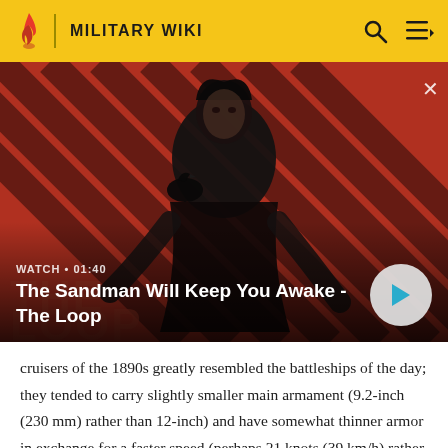MILITARY WIKI
[Figure (screenshot): Video thumbnail showing a dark figure (The Sandman) with a raven on shoulder against a red and dark diagonal striped background. The Loop logo visible. Watch duration 01:40 shown.]
WATCH • 01:40
The Sandman Will Keep You Awake - The Loop
cruisers of the 1890s greatly resembled the battleships of the day; they tended to carry slightly smaller main armament (9.2-inch (230 mm) rather than 12-inch) and have somewhat thinner armor in exchange for a faster speed (perhaps 21 knots (39 km/h) rather than 18).